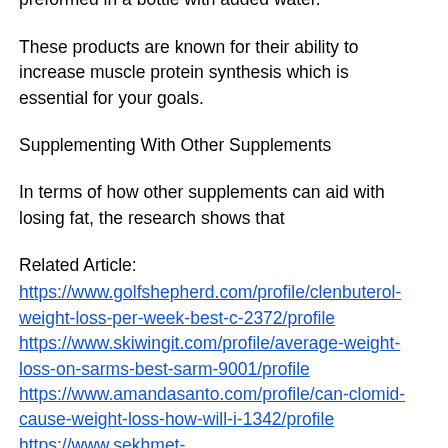$9-$17 a bottle especially if you are buying preformed in a bottle with added water.
These products are known for their ability to increase muscle protein synthesis which is essential for your goals.
Supplementing With Other Supplements
In terms of how other supplements can aid with losing fat, the research shows that
Related Article:
https://www.golfshepherd.com/profile/clenbuterol-weight-loss-per-week-best-c-2372/profile https://www.skiwingit.com/profile/average-weight-loss-on-sarms-best-sarm-9001/profile https://www.amandasanto.com/profile/can-clomid-cause-weight-loss-how-will-i-1342/profile https://www.sekhmet-